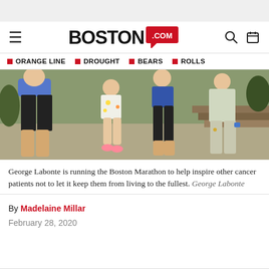BOSTON.com
ORANGE LINE | DROUGHT | BEARS | ROLLS
[Figure (photo): Group of people standing together outdoors, including a small child in a white floral shirt, adults in athletic shorts, near steps.]
George Labonte is running the Boston Marathon to help inspire other cancer patients not to let it keep them from living to the fullest. George Labonte
By Madelaine Millar
February 28, 2020